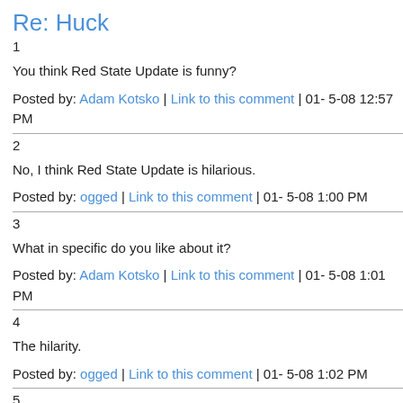Re: Huck
1
You think Red State Update is funny?
Posted by: Adam Kotsko | Link to this comment | 01- 5-08 12:57 PM
2
No, I think Red State Update is hilarious.
Posted by: ogged | Link to this comment | 01- 5-08 1:00 PM
3
What in specific do you like about it?
Posted by: Adam Kotsko | Link to this comment | 01- 5-08 1:01 PM
4
The hilarity.
Posted by: ogged | Link to this comment | 01- 5-08 1:02 PM
5
In addition to the fact that it's often hilarious, I love the verisimilitude of Red State Update. I've spent a lot of time in Tennessee, and I have sat across from people at tables for reasons (nobody) just like them.